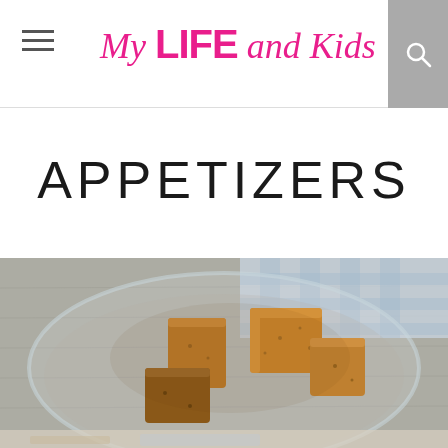My LIFE and Kids
APPETIZERS
[Figure (photo): A glass bowl filled with golden-brown toasted bread cubes (croutons or cinnamon toast bites), dusted with spice, photographed from above on a gray wooden surface with a blue checkered cloth in the background. The bottom portion shows a partially visible second image.]